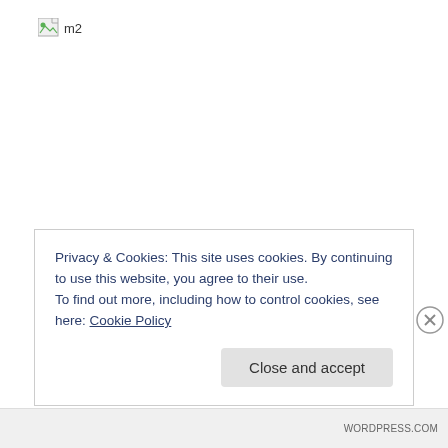[Figure (logo): Broken image placeholder icon with alt text 'm2']
Privacy & Cookies: This site uses cookies. By continuing to use this website, you agree to their use.
To find out more, including how to control cookies, see here: Cookie Policy
Close and accept